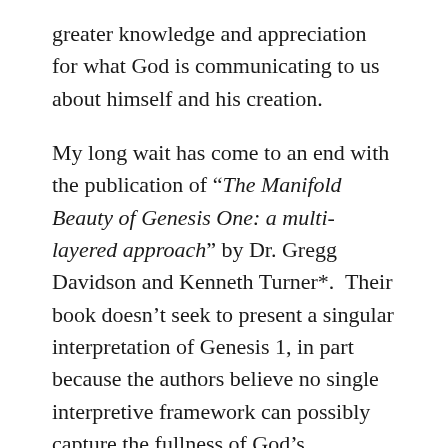greater knowledge and appreciation for what God is communicating to us about himself and his creation.
My long wait has come to an end with the publication of “The Manifold Beauty of Genesis One: a multi-layered approach” by Dr. Gregg Davidson and Kenneth Turner*.  Their book doesn’t seek to present a singular interpretation of Genesis 1, in part because the authors believe no single interpretive framework can possibly capture the fullness of God’s revelation.  Instead, the authors present seven layers or lenses through which we can read Genesis 1.
This is not a four views of Genesis book whose goal is to contrast and compare positions, often